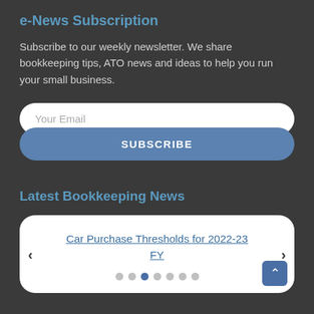e-News Subscription
Subscribe to our weekly newsletter. We share bookkeeping tips, ATO news and ideas to help you run your small business.
[Figure (screenshot): Email input field with placeholder 'Your Email' and a blue 'SUBSCRIBE' button below, both with rounded pill shapes]
Latest Bookkeeping News
[Figure (screenshot): White rounded card showing 'Car Purchase Thresholds for 2022-23 FY' as a link, with left and right navigation arrows and pagination dots below (third dot active)]